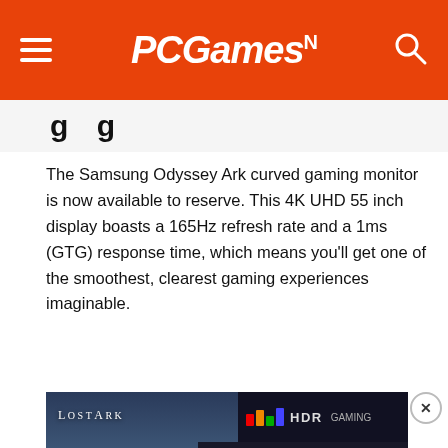PCGamesN
...gaming...
The Samsung Odyssey Ark curved gaming monitor is now available to reserve. This 4K UHD 55 inch display boasts a 165Hz refresh rate and a 1ms (GTG) response time, which means you'll get one of the smoothest, clearest gaming experiences imaginable.
[Figure (screenshot): Samsung Odyssey Ark gaming monitor showing Lost Ark game on the left panel and an Alone in the Dark Remake video overlay on the right panel with an MW logo and play button.]